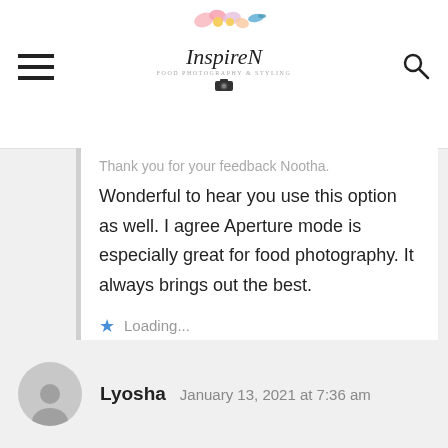InspireN [blog logo with navigation and search]
Thank you for your feedback Nootha. Wonderful to hear you use this option as well. I agree Aperture mode is especially great for food photography. It always brings out the best.
Loading...
REPLY
Lyosha  January 13, 2021 at 7:36 am